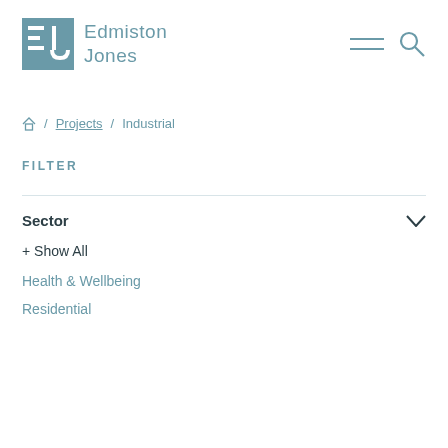Edmiston Jones
Home / Projects / Industrial
FILTER
Sector
+ Show All
Health & Wellbeing
Residential